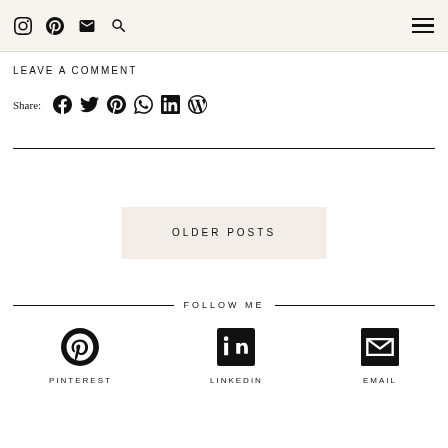Instagram Pinterest Email Search [hamburger menu]
LEAVE A COMMENT
Share: Facebook Twitter Pinterest WhatsApp LinkedIn WordPress
OLDER POSTS
FOLLOW ME
PINTEREST  LINKEDIN  EMAIL